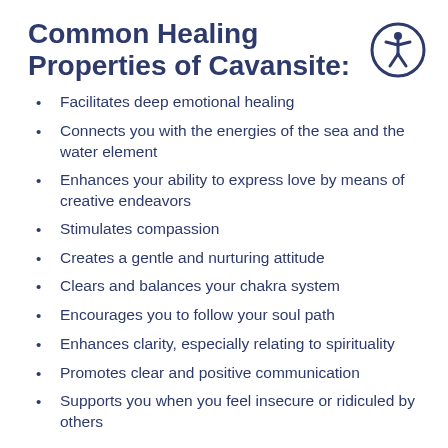Common Healing Properties of Cavansite:
[Figure (illustration): Accessibility icon: a circle with a stylized human figure (person with arms and legs spread) in dark navy blue outline]
Facilitates deep emotional healing
Connects you with the energies of the sea and the water element
Enhances your ability to express love by means of creative endeavors
Stimulates compassion
Creates a gentle and nurturing attitude
Clears and balances your chakra system
Encourages you to follow your soul path
Enhances clarity, especially relating to spirituality
Promotes clear and positive communication
Supports you when you feel insecure or ridiculed by others